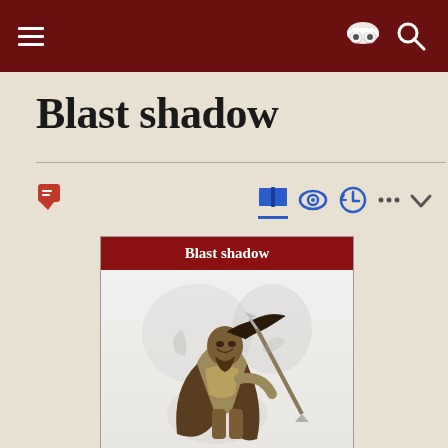Blast shadow
Blast shadow
[Figure (screenshot): Infobox card with dark red header reading 'Blast shadow' and an illustration of a humanoid warrior figure with a spear and dark smoky effect, armor and windswept hair]